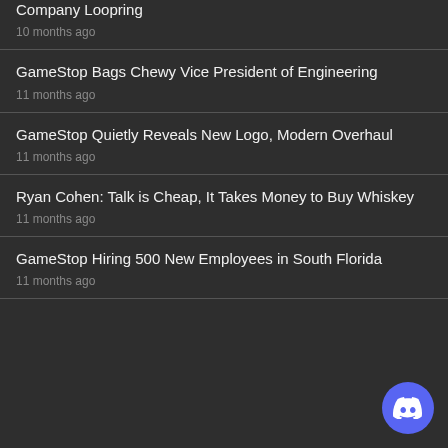Company Loopring
10 months ago
GameStop Bags Chewy Vice President of Engineering
11 months ago
GameStop Quietly Reveals New Logo, Modern Overhaul
11 months ago
Ryan Cohen: Talk is Cheap, It Takes Money to Buy Whiskey
11 months ago
GameStop Hiring 500 New Employees in South Florida
11 months ago